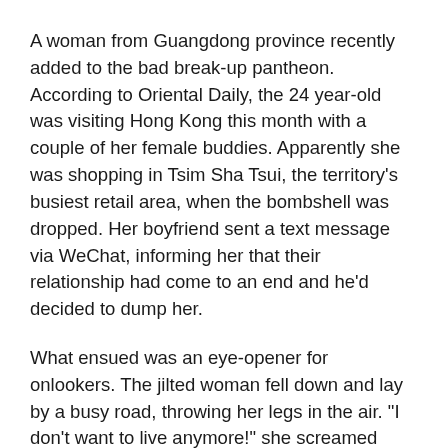A woman from Guangdong province recently added to the bad break-up pantheon. According to Oriental Daily, the 24 year-old was visiting Hong Kong this month with a couple of her female buddies. Apparently she was shopping in Tsim Sha Tsui, the territory's busiest retail area, when the bombshell was dropped. Her boyfriend sent a text message via WeChat, informing her that their relationship had come to an end and he'd decided to dump her.
What ensued was an eye-opener for onlookers. The jilted woman fell down and lay by a busy road, throwing her legs in the air. "I don't want to live anymore!" she screamed repeatedly. "I want to be with you forever don't you understand?" This footage was captured live by a host of smartphone cameras, and soon went viral online.
The woman in question later claimed to have known the man for more than 20 years. If true, she would have been dating her boyfriend as a toddler, which would certainly make the break-up more difficult. The drama ended only when police strapped her